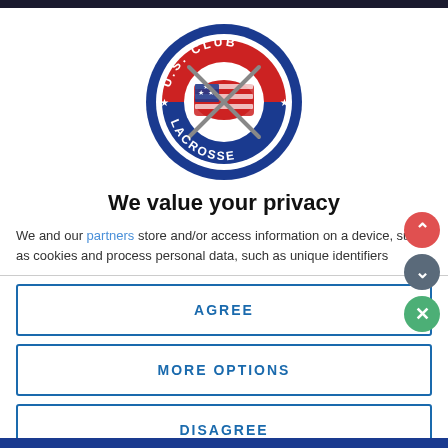[Figure (logo): U.S. Club Lacrosse circular logo with red, white, and blue colors featuring crossed lacrosse sticks and a US map silhouette]
We value your privacy
We and our partners store and/or access information on a device, such as cookies and process personal data, such as unique identifiers
AGREE
MORE OPTIONS
DISAGREE